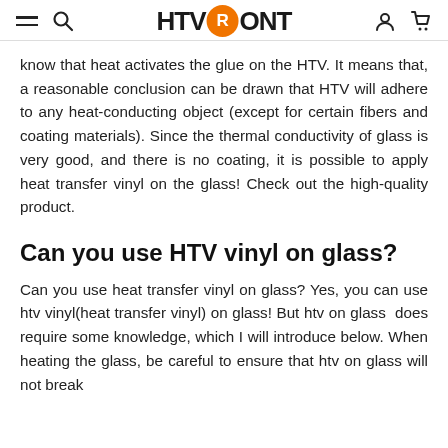HTV RONT (logo with hamburger, search, user, cart icons)
know that heat activates the glue on the HTV. It means that, a reasonable conclusion can be drawn that HTV will adhere to any heat-conducting object (except for certain fibers and coating materials). Since the thermal conductivity of glass is very good, and there is no coating, it is possible to apply heat transfer vinyl on the glass! Check out the high-quality product.
Can you use HTV vinyl on glass?
Can you use heat transfer vinyl on glass? Yes, you can use htv vinyl(heat transfer vinyl) on glass! But htv on glass  does require some knowledge, which I will introduce below. When heating the glass, be careful to ensure that htv on glass will not break